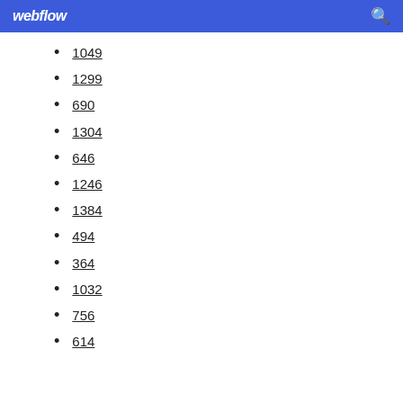webflow
1049
1299
690
1304
646
1246
1384
494
364
1032
756
614